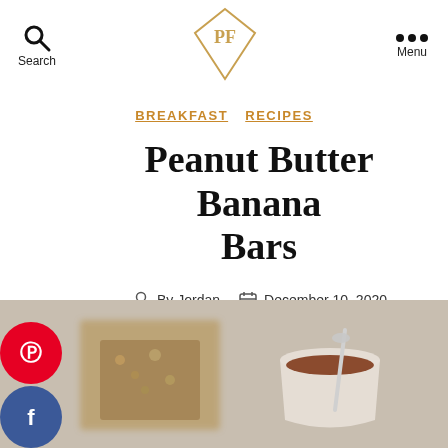Search | PF Logo | Menu
BREAKFAST  RECIPES
Peanut Butter Banana Bars
By Jordan  December 10, 2020
[Figure (photo): Food photo showing peanut butter banana bars and a cup with spoon, blurred background]
[Figure (infographic): Social media sharing sidebar with Pinterest, Facebook, Email, Twitter, and Instagram circular icons]